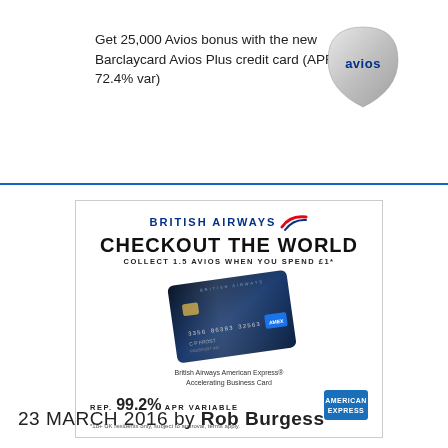Get 25,000 Avios bonus with the new Barclaycard Avios Plus credit card (APR 72.4% var)
[Figure (logo): Avios logo — silver shield shape with 'avios' text in blue]
[Figure (illustration): British Airways American Express Accelerating Business Card advertisement. Shows 'BRITISH AIRWAYS' brand with red swoosh logo, headline 'CHECKOUT THE WORLD', subheading 'COLLECT 1.5 AVIOS WHEN YOU SPEND £1*', image of a dark blue credit card (British Airways American Express Accelerating Business Card), text 'REP. 99.2% APR VARIABLE', American Express blue logo box, footnote '*18+ UK residents only, subject to approval, terms apply.']
23 MARCH 2016 by Rob Burgess